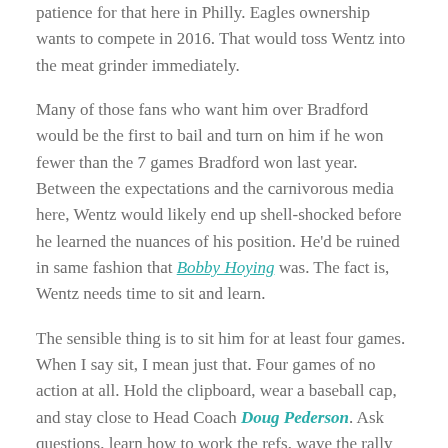patience for that here in Philly. Eagles ownership wants to compete in 2016. That would toss Wentz into the meat grinder immediately.
Many of those fans who want him over Bradford would be the first to bail and turn on him if he won fewer than the 7 games Bradford won last year. Between the expectations and the carnivorous media here, Wentz would likely end up shell-shocked before he learned the nuances of his position. He'd be ruined in same fashion that Bobby Hoying was. The fact is, Wentz needs time to sit and learn.
The sensible thing is to sit him for at least four games. When I say sit, I mean just that. Four games of no action at all. Hold the clipboard, wear a baseball cap, and stay close to Head Coach Doug Pederson. Ask questions, learn how to work the refs, wave the rally towel at the